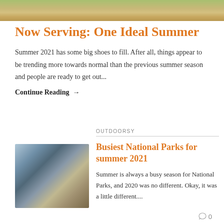[Figure (photo): Hero image of sandy beach with green grass/dunes at the top of the page]
Now Serving: One Ideal Summer
Summer 2021 has some big shoes to fill. After all, things appear to be trending more towards normal than the previous summer season and people are ready to get out...
Continue Reading →
OUTDOORSY
[Figure (photo): Photo of a person inside the back of a camper van with the rear doors open]
Busiest National Parks for summer 2021
Summer is always a busy season for National Parks, and 2020 was no different. Okay, it was a little different....
0